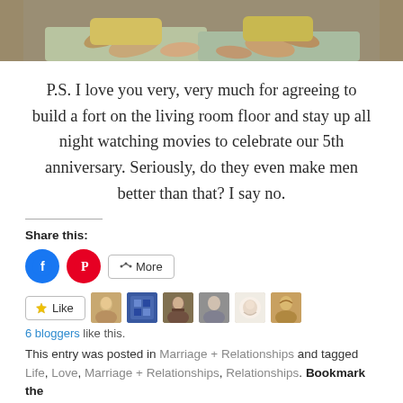[Figure (photo): Partial photo showing two people's legs/lower bodies sitting or lying on a bed or floor with colorful bedding, cropped at top]
P.S. I love you very, very much for agreeing to build a fort on the living room floor and stay up all night watching movies to celebrate our 5th anniversary. Seriously, do they even make men better than that? I say no.
Share this:
[Figure (infographic): Share buttons row: Facebook (blue circle), Pinterest (red circle), More button with share icon]
[Figure (infographic): Like button with star icon, followed by 6 blogger avatar thumbnails]
6 bloggers like this.
This entry was posted in Marriage + Relationships and tagged Life, Love, Marriage + Relationships, Relationships. Bookmark the